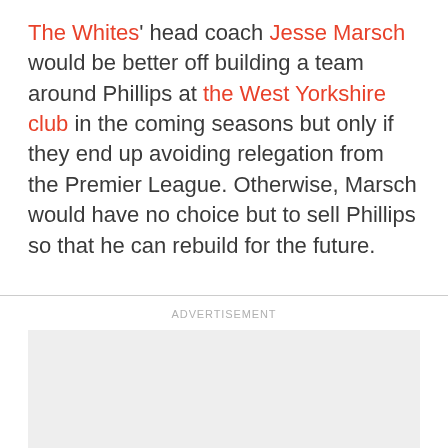The Whites' head coach Jesse Marsch would be better off building a team around Phillips at the West Yorkshire club in the coming seasons but only if they end up avoiding relegation from the Premier League. Otherwise, Marsch would have no choice but to sell Phillips so that he can rebuild for the future.
ADVERTISEMENT